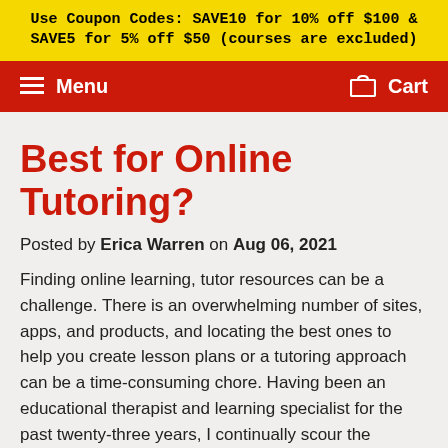Use Coupon Codes: SAVE10 for 10% off $100 & SAVE5 for 5% off $50 (courses are excluded)
Menu   Cart
Best for Online Tutoring?
Posted by Erica Warren on Aug 06, 2021
Finding online learning, tutor resources can be a challenge. There is an overwhelming number of sites, apps, and products, and locating the best ones to help you create lesson plans or a tutoring approach can be a time-consuming chore. Having been an educational therapist and learning specialist for the past twenty-three years, I continually scour the internet for great resource(s), website(s), lessons, ideas. I would love to share with